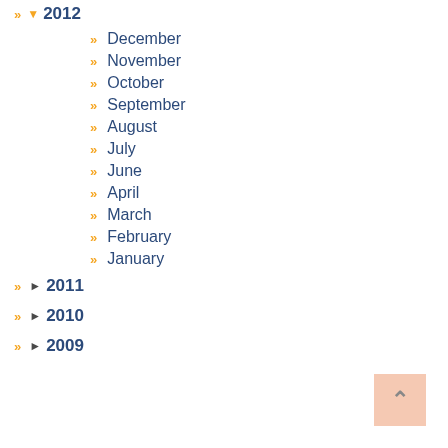» ▼ 2012
» December
» November
» October
» September
» August
» July
» June
» April
» March
» February
» January
» ► 2011
» ► 2010
» ► 2009